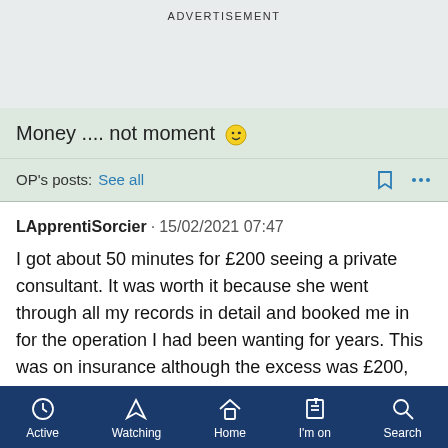ADVERTISEMENT
Money .... not moment 😉
OP's posts:  See all
LApprentiSorcier · 15/02/2021 07:47

I got about 50 minutes for £200 seeing a private consultant. It was worth it because she went through all my records in detail and booked me in for the operation I had been wanting for years. This was on insurance although the excess was £200, so essentially I paid for the consultation and then the operation was covered by insurance.
Active  Watching  Home  I'm on  Search